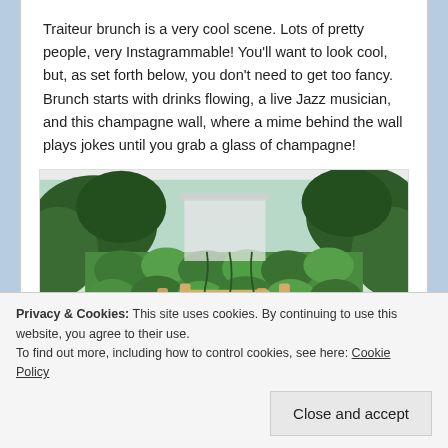Traiteur brunch is a very cool scene. Lots of pretty people, very Instagrammable! You'll want to look cool, but, as set forth below, you don't need to get too fancy. Brunch starts with drinks flowing, a live Jazz musician, and this champagne wall, where a mime behind the wall plays jokes until you grab a glass of champagne!
[Figure (photo): Outdoor champagne wall covered in lush green ivy and hedges, with a wooden frame sign reading 'Ring for Champagne' in pink script, surrounded by trees and greenery]
Privacy & Cookies: This site uses cookies. By continuing to use this website, you agree to their use.
To find out more, including how to control cookies, see here: Cookie Policy
Close and accept